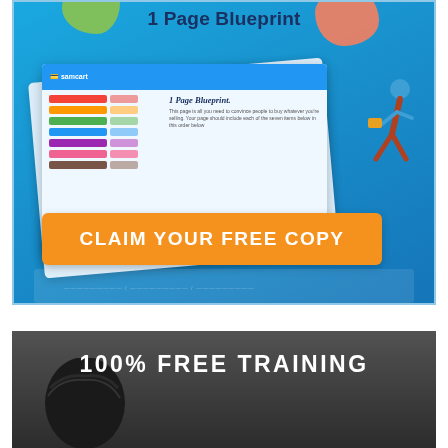[Figure (screenshot): Advertisement banner with blue gradient background showing a '1 Page Blueprint' document/worksheet mockup with colored rows, a headline section, a running figure illustration, and an orange 'CLAIM YOUR FREE COPY' call-to-action button. Green and orange blob shapes in top corners.]
[Figure (screenshot): Dark gray banner advertisement showing '100% FREE TRAINING' text in white with a partially visible person's head/hair at bottom left.]